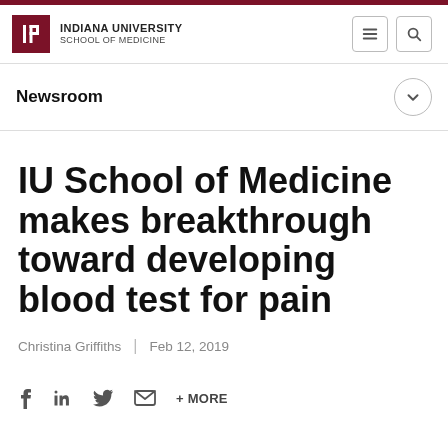INDIANA UNIVERSITY SCHOOL OF MEDICINE
Newsroom
IU School of Medicine makes breakthrough toward developing blood test for pain
Christina Griffiths | Feb 12, 2019
f  in  🐦  ✉  + MORE